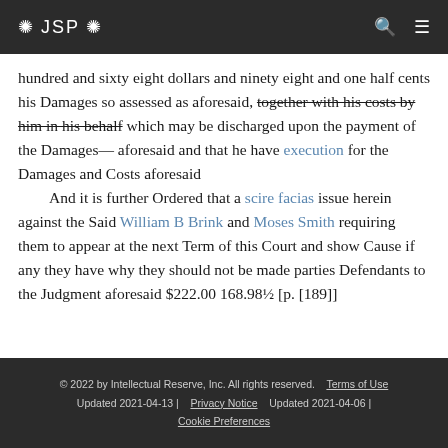❖ JSP ❖
hundred and sixty eight dollars and ninety eight and one half cents his Damages so assessed as aforesaid, together with his costs by him in his behalf which may be discharged upon the payment of the Damages— aforesaid and that he have execution for the Damages and Costs aforesaid
    And it is further Ordered that a scire facias issue herein against the Said William B Brink and Moses Smith requiring them to appear at the next Term of this Court and show Cause if any they have why they should not be made parties Defendants to the Judgment aforesaid $222.00 168.98½ [p. [189]]
© 2022 by Intellectual Reserve, Inc. All rights reserved.   Terms of Use
Updated 2021-04-13 |    Privacy Notice    Updated 2021-04-06 |
Cookie Preferences